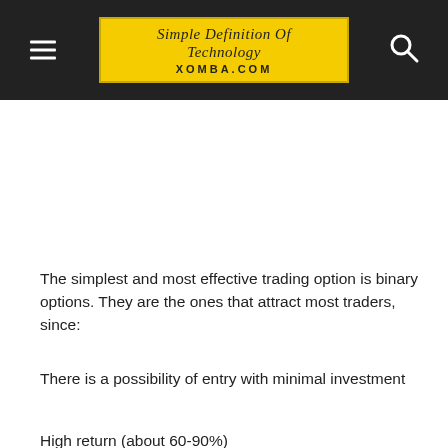Simple Definition Of Technology XOMBA.COM
The simplest and most effective trading option is binary options. They are the ones that attract most traders, since:
There is a possibility of entry with minimal investment
High return (about 60-90%)
Minimum transaction time (from a few seconds)